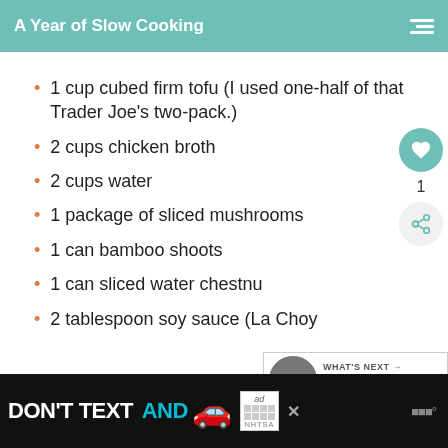A Year of Slow Cooking
1 cup cubed firm tofu (I used one-half of that Trader Joe's two-pack.)
2 cups chicken broth
2 cups water
1 package of sliced mushrooms
1 can bamboo shoots
1 can sliced water chestn...
2 tablespoon soy sauce (La Choy
[Figure (screenshot): Advertisement banner: DON'T TEXT AND (car emoji) with NHTSA logo]
[Figure (infographic): What's Next: The CrockPot Diet thumbnail panel]